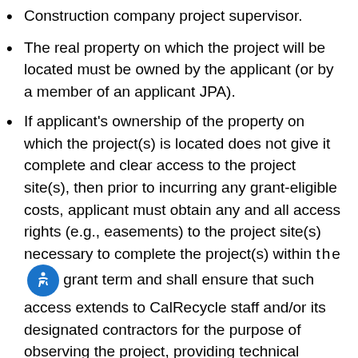Construction company project supervisor.
The real property on which the project will be located must be owned by the applicant (or by a member of an applicant JPA).
If applicant’s ownership of the property on which the project(s) is located does not give it complete and clear access to the project site(s), then prior to incurring any grant-eligible costs, applicant must obtain any and all access rights (e.g., easements) to the project site(s) necessary to complete the project(s) within the grant term and shall ensure that such access extends to CalRecycle staff and/or its designated contractors for the purpose of observing the project, providing technical assistance and/or training during the grant term. Such access must be in writing from the